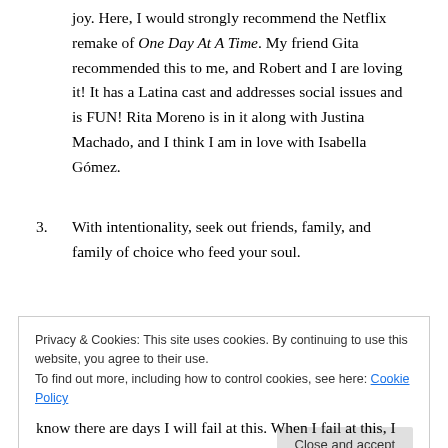joy. Here, I would strongly recommend the Netflix remake of One Day At A Time. My friend Gita recommended this to me, and Robert and I are loving it! It has a Latina cast and addresses social issues and is FUN! Rita Moreno is in it along with Justina Machado, and I think I am in love with Isabella Gómez.
3. With intentionality, seek out friends, family, and family of choice who feed your soul.
Privacy & Cookies: This site uses cookies. By continuing to use this website, you agree to their use. To find out more, including how to control cookies, see here: Cookie Policy
know there are days I will fail at this. When I fail at this, I